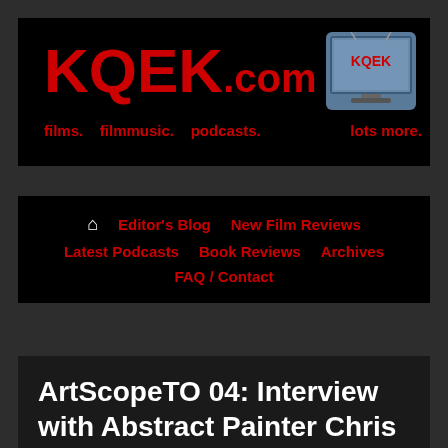KQEK.com — films. filmmusic. podcasts. lots more.
[Figure (logo): KQEK.com website header banner with red bold KQEK.com text and tagline 'films. filmmusic. podcasts. lots more.' on black background, with a small TV screen graphic showing KQEK logo on the right]
Editor's Blog | New Film Reviews | Latest Podcasts | Book Reviews | Archives | FAQ / Contact
ArtScopeTO 04: Interview with Abstract Painter Chris